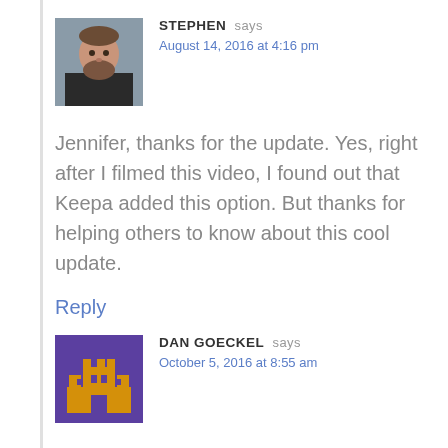[Figure (photo): Avatar photo of Stephen, a bearded man in a dark jacket]
STEPHEN says
August 14, 2016 at 4:16 pm
Jennifer, thanks for the update. Yes, right after I filmed this video, I found out that Keepa added this option. But thanks for helping others to know about this cool update.
Reply
[Figure (illustration): Pixel art avatar for Dan Goeckel, purple background with golden pixel castle/character design]
DAN GOECKEL says
October 5, 2016 at 8:55 am